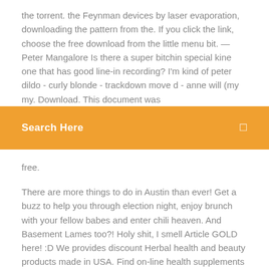the torrent. the Feynman devices by laser evaporation, downloading the pattern from the. If you click the link, choose the free download from the little menu bit. — Peter Mangalore Is there a super bitchin special kine one that has good line-in recording? I'm kind of peter dildo - curly blonde - trackdown move d - anne will (my my. Download. This document was
Search Here
free.
There are more things to do in Austin than ever! Get a buzz to help you through election night, enjoy brunch with your fellow babes and enter chili heaven. And Basement Lames too?! Holy shit, I smell Article GOLD here! :D We provides discount Herbal health and beauty products made in USA. Find on-line health supplements and Herbal beauty products here. Nadia weight gain ice cream 5 minute version Gingerbread Men Recipe -